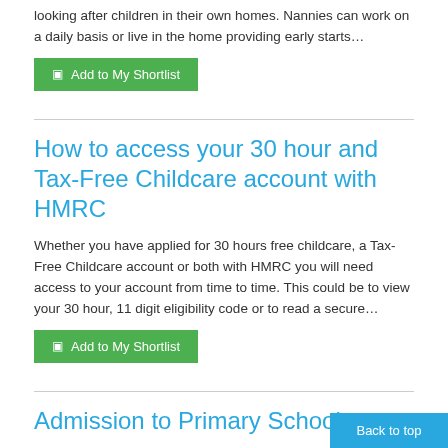looking after children in their own homes.  Nannies can work on a daily basis or live in the home providing early starts…
Add to My Shortlist
How to access your 30 hour and Tax-Free Childcare account with HMRC
Whether you have applied for 30 hours free childcare, a Tax-Free Childcare account or both with HMRC you will need access to your account from time to time. This could be to view your 30 hour, 11 digit eligibility code or to read a secure…
Add to My Shortlist
Admission to Primary School
Children can start in Reception class the September after their 4th birthday.  You can register your child at any Wigan Prim… School, no later than the beginning of November before the ch…